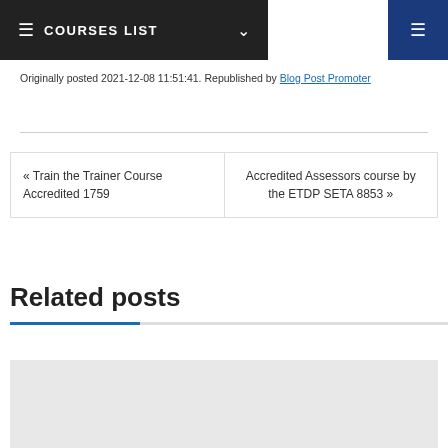COURSES LIST
Originally posted 2021-12-08 11:51:41. Republished by Blog Post Promoter
« Train the Trainer Course Accredited 1759
Accredited Assessors course by the ETDP SETA 8853 »
Related posts